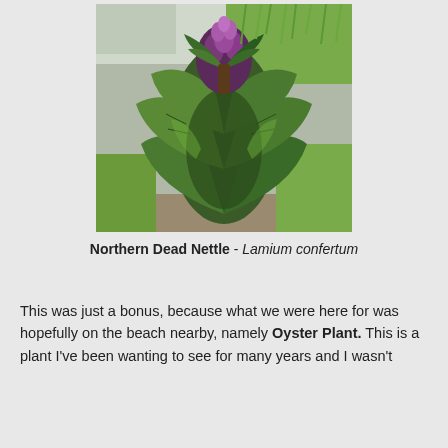[Figure (photo): Close-up photograph of a Northern Dead Nettle (Lamium confertum) plant showing dark green serrated leaves with purple flower buds at the top, set against a grassy background.]
Northern Dead Nettle - Lamium confertum
This was just a bonus, because what we were here for was hopefully on the beach nearby, namely Oyster Plant. This is a plant I've been wanting to see for many years and I wasn't